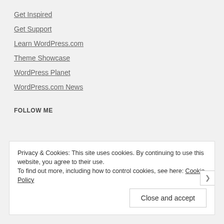Get Inspired
Get Support
Learn WordPress.com
Theme Showcase
WordPress Planet
WordPress.com News
FOLLOW ME
Privacy & Cookies: This site uses cookies. By continuing to use this website, you agree to their use.
To find out more, including how to control cookies, see here: Cookie Policy
Close and accept